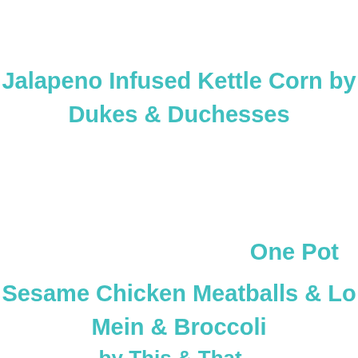Jalapeno Infused Kettle Corn by Dukes & Duchesses
One Pot Sesame Chicken Meatballs & Lo Mein & Broccoli
by This & That...